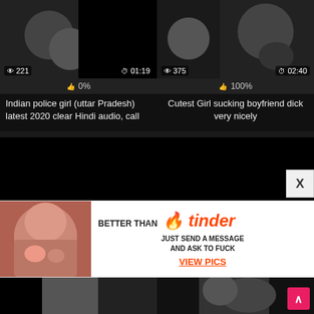[Figure (screenshot): Video thumbnail - Indian police girl video, blurred faces, dark]
👁 221  ⏱01:19
👍 0%
Indian police girl (uttar Pradesh) latest 2020 clear Hindi audio, call
[Figure (screenshot): Video thumbnail - Cutest girl sucking boyfriend, blurred]
👁 375  ⏱02:40
👍 100%
Cutest Girl sucking boyfriend dick very nicely
[Figure (screenshot): Black thumbnail placeholder left]
[Figure (screenshot): Black thumbnail placeholder right]
[Figure (photo): Advertisement - Better Than Tinder promotional ad with photo of redhead woman]
BETTER THAN tinder
JUST SEND A MESSAGE AND ASK TO FUCK
VIEW PICS
[Figure (screenshot): Bottom left video thumbnail]
[Figure (screenshot): Bottom right video thumbnail with scroll-to-top button]